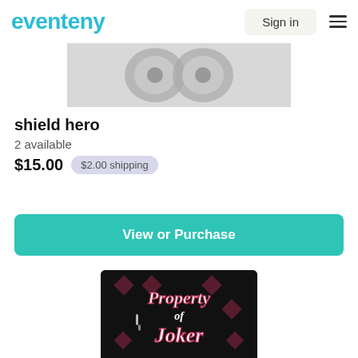eventeny | Sign in
[Figure (photo): Product image showing shield hero item — metallic shield-shaped objects on light background]
shield hero
2 available
$15.00   $2.00 shipping
View or Purchase
[Figure (photo): Black graphic image with stylized text reading 'Property of Joker' in pink and white decorative font on dark background with diamond patterns]